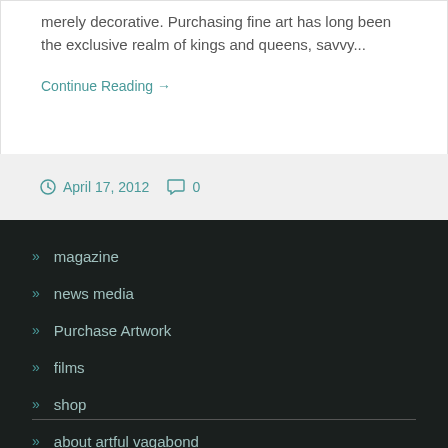merely decorative. Purchasing fine art has long been the exclusive realm of kings and queens, savvy...
Continue Reading →
April 17, 2012   0
» magazine
» news media
» Purchase Artwork
» films
» shop
» about artful vagabond
» contact